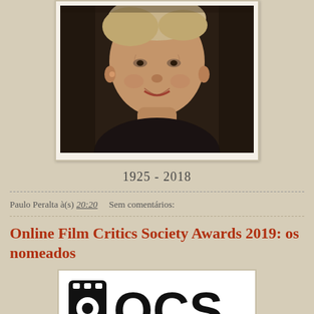[Figure (photo): Portrait photo of an elderly woman with light curly hair, wearing a dark jacket, against a dark background.]
1925 - 2018
Paulo Peralta à(s) 20:20    Sem comentários:
Online Film Critics Society Awards 2019: os nomeados
[Figure (logo): OFCS logo — film strip icon next to the letters OCS in bold black on white background.]